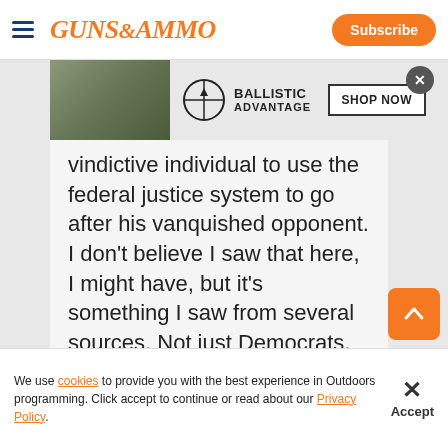Guns & Ammo — Subscribe
[Figure (screenshot): Ballistic Advantage advertisement banner with crosshair logo and SHOP NOW button]
vindictive individual to use the federal justice system to go after his vanquished opponent. I don't believe I saw that here, I might have, but it's something I saw from several sources. Not just Democrats, but some "Never Trumpers."
We use cookies to provide you with the best experience in Outdoors programming. Click accept to continue or read about our Privacy Policy.